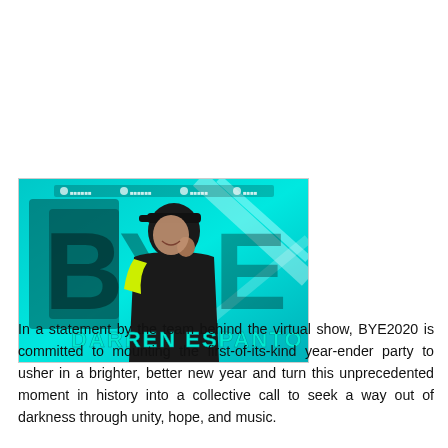[Figure (photo): A promotional image showing Darren Espanto on a teal/cyan neon-lit stage background with the text 'DARREN ESPANTO' displayed at the bottom in teal neon-style letters.]
In a statement by the team behind the virtual show, BYE2020 is committed to mounting the first-of-its-kind year-ender party to usher in a brighter, better new year and turn this unprecedented moment in history into a collective call to seek a way out of darkness through unity, hope, and music.